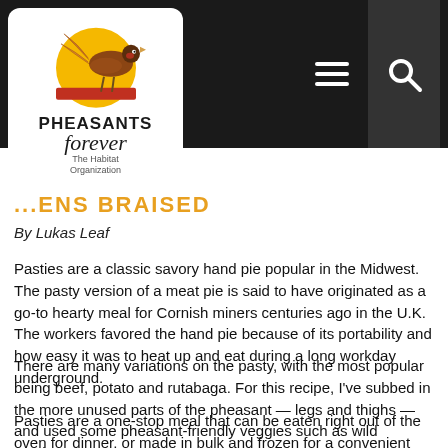[Figure (logo): Pheasants Forever logo with pheasant bird graphic, text 'PHEASANTS forever - The Habitat Organization']
...ENS BRAISED
By Lukas Leaf
Pasties are a classic savory hand pie popular in the Midwest. The pasty version of a meat pie is said to have originated as a go-to hearty meal for Cornish miners centuries ago in the U.K. The workers favored the hand pie because of its portability and how easy it was to heat up and eat during a long workday underground.
There are many variations on the pasty, with the most popular being beef, potato and rutabaga. For this recipe, I've subbed in the more unused parts of the pheasant — legs and thighs — and used some pheasant-friendly veggies such as wild mushrooms.
Pasties are a one-stop meal that can be eaten right out of the oven for dinner, or made in bulk and frozen for a convenient